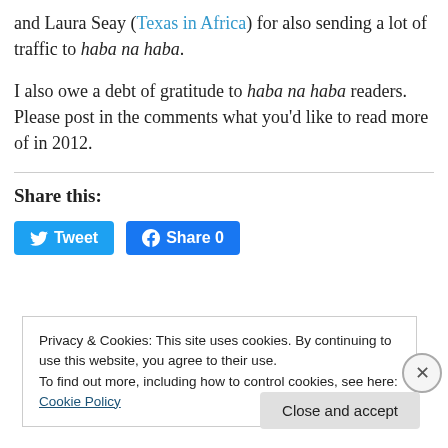and Laura Seay (Texas in Africa) for also sending a lot of traffic to haba na haba.
I also owe a debt of gratitude to haba na haba readers. Please post in the comments what you'd like to read more of in 2012.
Share this:
Tweet | Share 0
Privacy & Cookies: This site uses cookies. By continuing to use this website, you agree to their use. To find out more, including how to control cookies, see here: Cookie Policy
Close and accept